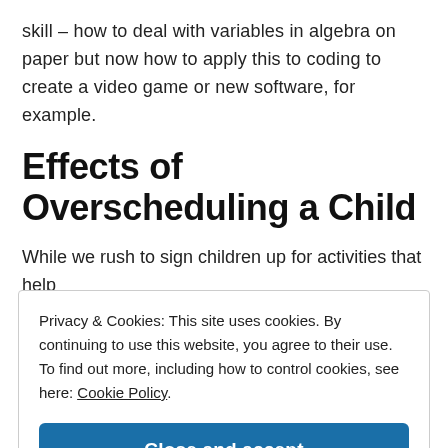skill – how to deal with variables in algebra on paper but now how to apply this to coding to create a video game or new software, for example.
Effects of Overscheduling a Child
While we rush to sign children up for activities that help
Privacy & Cookies: This site uses cookies. By continuing to use this website, you agree to their use.
To find out more, including how to control cookies, see here: Cookie Policy.

[Close and accept]